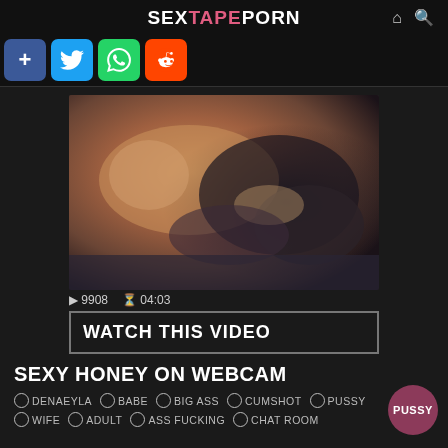SEXTAPEPORN
▷ 9908 ⏱ 04:03
WATCH THIS VIDEO
SEXY HONEY ON WEBCAM
DENAEYLA  BABE  BIG ASS  CUMSHOT  PUSSY
WIFE  ADULT  ASS FUCKING  CHAT ROOM